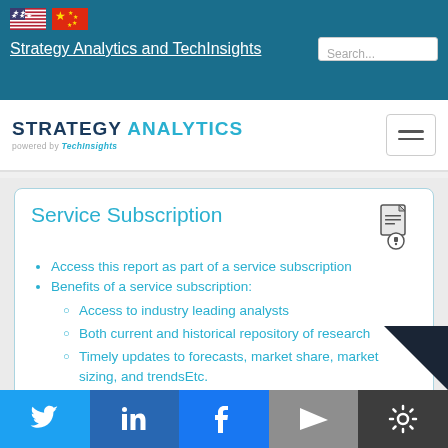Strategy Analytics and TechInsights
[Figure (logo): Strategy Analytics powered by TechInsights logo]
Service Subscription
Access this report as part of a service subscription
Benefits of a service subscription:
Access to industry leading analysts
Both current and historical repository of research
Timely updates to forecasts, market share, market sizing, and trendsEtc.
Twitter LinkedIn Facebook Email Settings